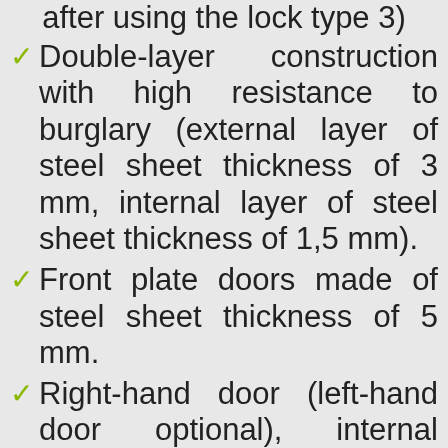after using the lock type 3)
Double-layer construction with high resistance to burglary (external layer of steel sheet thickness of 3 mm, internal layer of steel sheet thickness of 1,5 mm).
Front plate doors made of steel sheet thickness of 5 mm.
Right-hand door (left-hand door optional), internal hinges, door